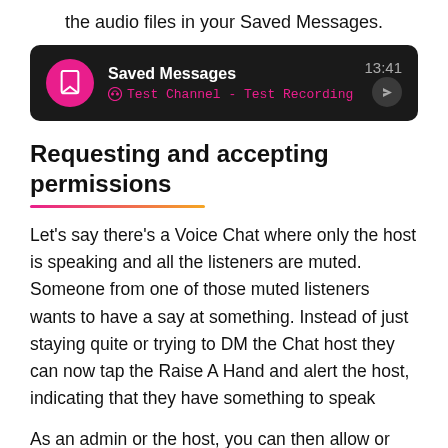the audio files in your Saved Messages.
[Figure (screenshot): Dark-themed mobile UI showing a 'Saved Messages' notification. Pink avatar with bookmark icon on left. Title 'Saved Messages' in white bold text with time '13:41' on the right. Subtitle in pink: headphone icon + 'Test Channel - Test Recording'. A circular send button on the far right.]
Requesting and accepting permissions
Let's say there's a Voice Chat where only the host is speaking and all the listeners are muted. Someone from one of those muted listeners wants to have a say at something. Instead of just staying quite or trying to DM the Chat host they can now tap the Raise A Hand and alert the host, indicating that they have something to speak
As an admin or the host, you can then allow or